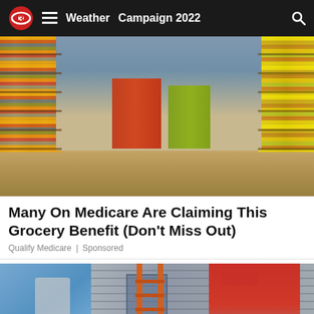Weather  Campaign 2022
[Figure (photo): Interior of a grocery store showing aisles with colorful products on shelves, stretching toward the back of the store]
Many On Medicare Are Claiming This Grocery Benefit (Don't Miss Out)
Qualify Medicare | Sponsored
[Figure (photo): Man in red shirt on an orange ladder installing or repairing something on the exterior of a house with siding]